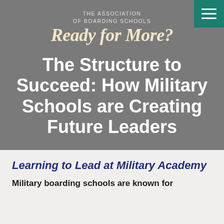THE ASSOCIATION OF BOARDING SCHOOLS
[Figure (logo): Ready for More? script logo in cursive font on grey background]
The Structure to Succeed: How Military Schools are Creating Future Leaders
Learning to Lead at Military Academy
Military boarding schools are known for